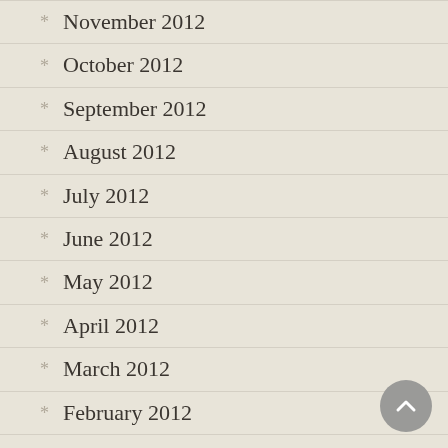November 2012
October 2012
September 2012
August 2012
July 2012
June 2012
May 2012
April 2012
March 2012
February 2012
January 2012
December 2011
November 2011